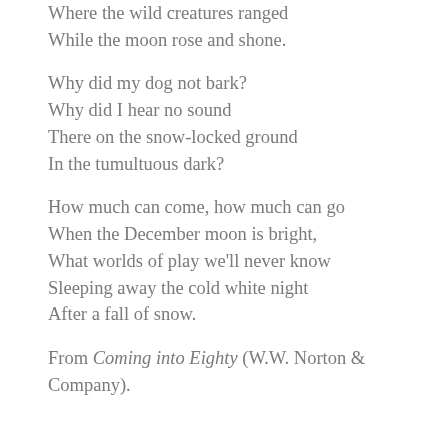Where the wild creatures ranged
While the moon rose and shone.
Why did my dog not bark?
Why did I hear no sound
There on the snow-locked ground
In the tumultuous dark?
How much can come, how much can go
When the December moon is bright,
What worlds of play we'll never know
Sleeping away the cold white night
After a fall of snow.
From Coming into Eighty (W.W. Norton & Company).